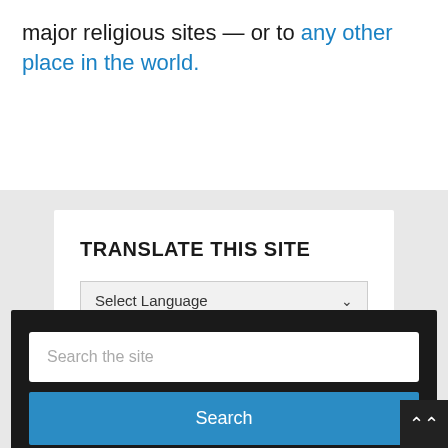major religious sites — or to any other place in the world.
TRANSLATE THIS SITE
Select Language
Powered by Google Translate
Search the site
Search